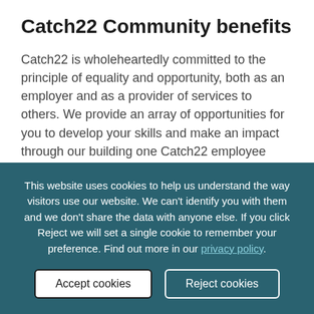Catch22 Community benefits
Catch22 is wholeheartedly committed to the principle of equality and opportunity, both as an employer and as a provider of services to others. We provide an array of opportunities for you to develop your skills and make an impact through our building one Catch22 employee forums.
This website uses cookies to help us understand the way visitors use our website. We can't identify you with them and we don't share the data with anyone else. If you click Reject we will set a single cookie to remember your preference. Find out more in our privacy policy.